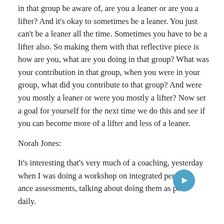in that group be aware of, are you a leaner or are you a lifter? And it's okay to sometimes be a leaner. You just can't be a leaner all the time. Sometimes you have to be a lifter also. So making them with that reflective piece is how are you, what are you doing in that group? What was your contribution in that group, when you were in your group, what did you contribute to that group? And were you mostly a leaner or were you mostly a lifter? Now set a goal for yourself for the next time we do this and see if you can become more of a lifter and less of a leaner.
Norah Jones:
It's interesting that's very much of a coaching, yesterday when I was doing a workshop on integrated performance assessments, talking about doing them as possible daily.